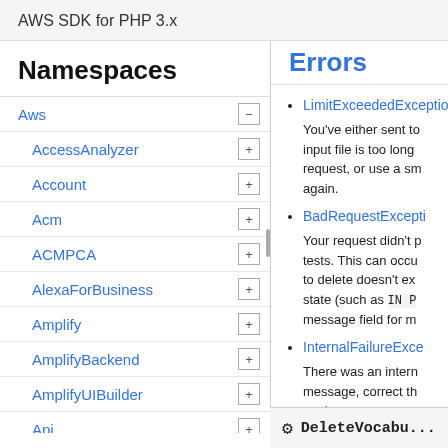AWS SDK for PHP 3.x
Namespaces
Aws
AccessAnalyzer
Account
Acm
ACMPCA
AlexaForBusiness
Amplify
AmplifyBackend
AmplifyUIBuilder
Api
ApiGateway
ApiGatewayManagementApi
Errors
LimitExceededException
You've either sent too many requests or your input file is too long. Wait before you retry your request, or use a smaller file and try your request again.
BadRequestException
Your request didn't pass one or more validation tests. This can occur when the entity you're trying to delete doesn't exist or if it's in a non-terminal state (such as IN PROGRESS). See the error message field for more information.
InternalFailureException
There was an internal error. Check the error message, correct the request and try the request again.
DeleteVocabu...